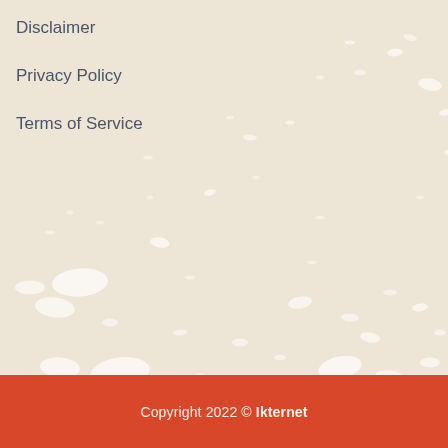Disclaimer
Privacy Policy
Terms of Service
Copyright 2022 © Ikternet